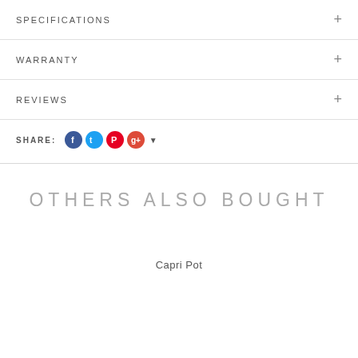SPECIFICATIONS
WARRANTY
REVIEWS
SHARE:
OTHERS ALSO BOUGHT
Capri Pot